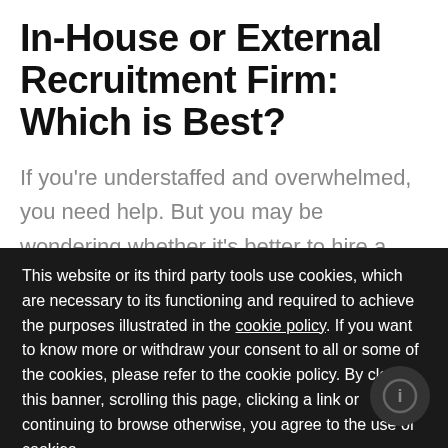In-House or External Recruitment Firm: Which is Best?
If you're understaffed and overwhelmed, you need help. But you may be wondering whether it's better to hire a recruiter to join your company, or work with a recruitment firm to fill
This website or its third party tools use cookies, which are necessary to its functioning and required to achieve the purposes illustrated in the cookie policy. If you want to know more or withdraw your consent to all or some of the cookies, please refer to the cookie policy. By closing this banner, scrolling this page, clicking a link or continuing to browse otherwise, you agree to the use of cookies.    cookie settings   Accept Cookies